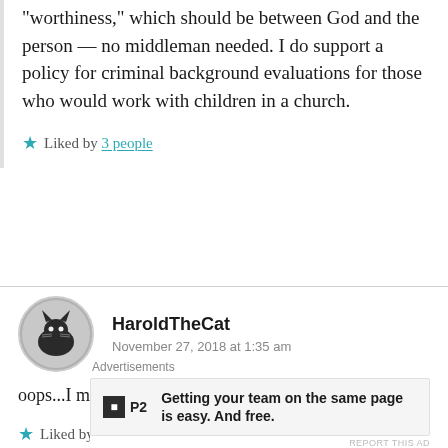worthiness," which should be between God and the person — no middleman needed. I do support a policy for criminal background evaluations for those who would work with children in a church.
★ Liked by 3 people
HaroldTheCat
November 27, 2018 at 1:35 am
oops...I meant assess not access...
★ Liked by 2 people
Advertisements
Getting your team on the same page is easy. And free.